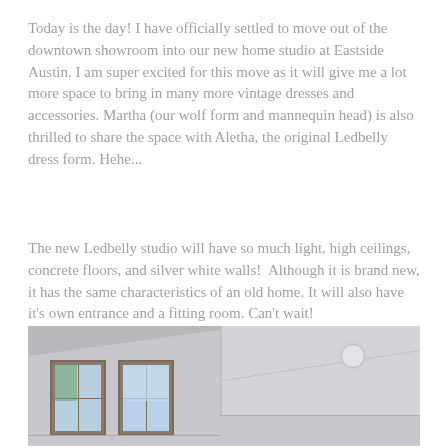Today is the day!  I have officially settled to move out of the downtown showroom into our new home studio at Eastside Austin.  I am super excited for this move as it will give me a lot more space to bring in many more vintage dresses and accessories.  Martha (our wolf form and mannequin head) is also thrilled to share the space with Aletha, the original Ledbelly dress form.  Hehe...
The new Ledbelly studio will have so much light, high ceilings, concrete floors, and silver white walls!  Although it is brand new, it has the same characteristics of an old home.  It will also have it's own entrance and a fitting room.  Can't wait!
[Figure (photo): Two side-by-side photos of an empty room with high ceilings and windows. Left photo shows a corner of a room with two windows and light-colored walls. Right photo shows the ceiling with a circular light fixture and silver-white walls.]